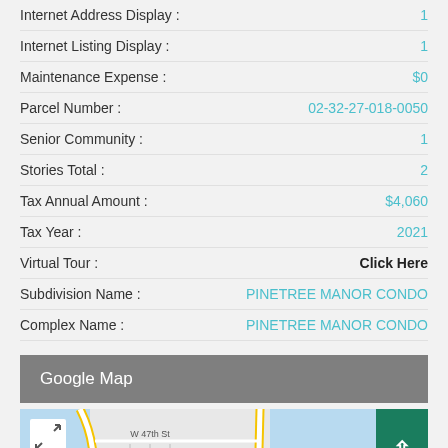| Field | Value |
| --- | --- |
| Internet Address Display : | 1 |
| Internet Listing Display : | 1 |
| Maintenance Expense : | $0 |
| Parcel Number : | 02-32-27-018-0050 |
| Senior Community : | 1 |
| Stories Total : | 2 |
| Tax Annual Amount : | $4,060 |
| Tax Year : | 2021 |
| Virtual Tour : | Click Here |
| Subdivision Name : | PINETREE MANOR CONDO |
| Complex Name : | PINETREE MANOR CONDO |
Google Map
[Figure (map): Google Map showing area near W 47th St with Fontainebleau label, roads with yellow outlines, blue water areas]